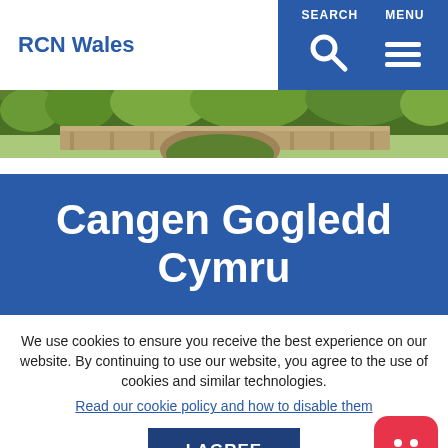RCN Wales
[Figure (photo): Landscape photo of a stone bridge with trees in background]
Cangen Gogledd Cymru
We use cookies to ensure you receive the best experience on our website. By continuing to use our website, you agree to the use of cookies and similar technologies.
Read our cookie policy and how to disable them
I AGREE